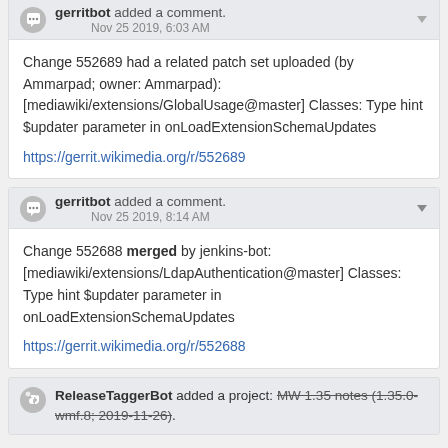gerritbot added a comment. Nov 25 2019, 6:03 AM
Change 552689 had a related patch set uploaded (by Ammarpad; owner: Ammarpad): [mediawiki/extensions/GlobalUsage@master] Classes: Type hint $updater parameter in onLoadExtensionSchemaUpdates
https://gerrit.wikimedia.org/r/552689
gerritbot added a comment. Nov 25 2019, 8:14 AM
Change 552688 merged by jenkins-bot: [mediawiki/extensions/LdapAuthentication@master] Classes: Type hint $updater parameter in onLoadExtensionSchemaUpdates
https://gerrit.wikimedia.org/r/552688
ReleaseTaggerBot added a project: MW 1.35 notes (1.35.0-wmf.8; 2019-11-26).